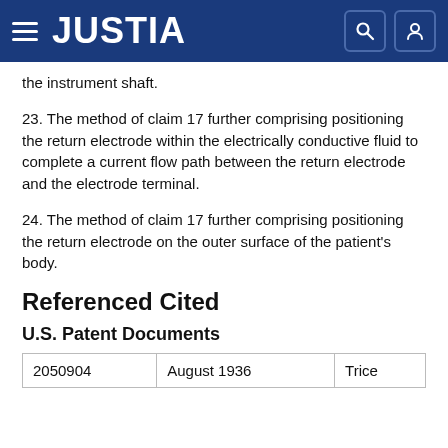JUSTIA
the instrument shaft.
23. The method of claim 17 further comprising positioning the return electrode within the electrically conductive fluid to complete a current flow path between the return electrode and the electrode terminal.
24. The method of claim 17 further comprising positioning the return electrode on the outer surface of the patient's body.
Referenced Cited
U.S. Patent Documents
| 2050904 | August 1936 | Trice |